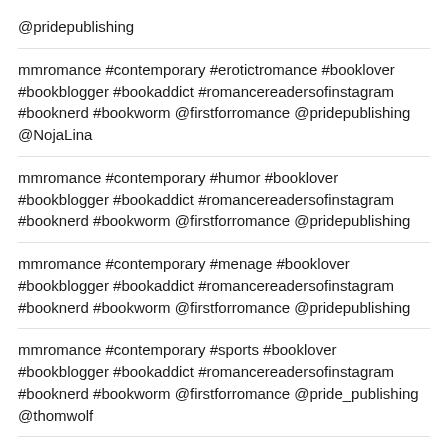@pridepublishing
mmromance #contemporary #erotictromance #booklover #bookblogger #bookaddict #romancereadersofinstagram #booknerd #bookworm @firstforromance @pridepublishing @NojaLina
mmromance #contemporary #humor #booklover #bookblogger #bookaddict #romancereadersofinstagram #booknerd #bookworm @firstforromance @pridepublishing
mmromance #contemporary #menage #booklover #bookblogger #bookaddict #romancereadersofinstagram #booknerd #bookworm @firstforromance @pridepublishing
mmromance #contemporary #sports #booklover #bookblogger #bookaddict #romancereadersofinstagram #booknerd #bookworm @firstforromance @pride_publishing @thomwolf
mmromance #contemporary #suspense #booklover #bookblogger #bookaddict #romancereadersofinstagram #booknerd #bookworm @firstforromance @pride_publishing